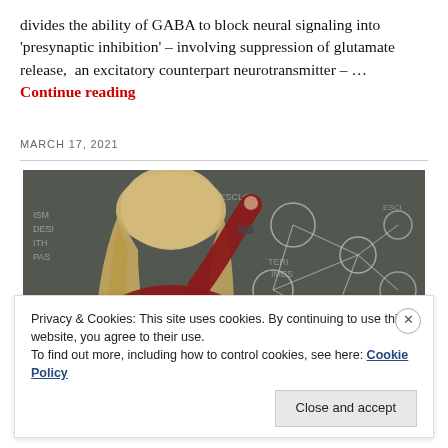divides the ability of GABA to block neural signaling into 'presynaptic inhibition' – involving suppression of glutamate release, an excitatory counterpart neurotransmitter – … Continue reading
MARCH 17, 2021
[Figure (photo): A person with long blonde hair wearing a red sweater, seen from behind, writing on a chalkboard that has network diagrams and text drawn on it.]
Privacy & Cookies: This site uses cookies. By continuing to use this website, you agree to their use.
To find out more, including how to control cookies, see here: Cookie Policy
Close and accept